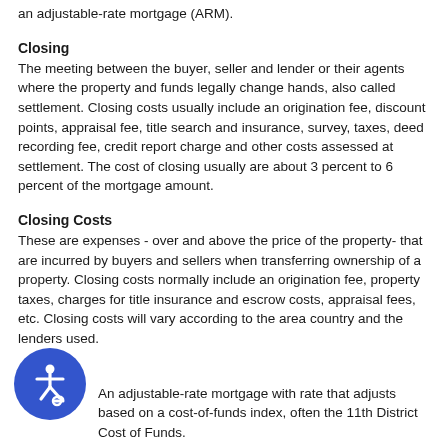an adjustable-rate mortgage (ARM).
Closing
The meeting between the buyer, seller and lender or their agents where the property and funds legally change hands, also called settlement. Closing costs usually include an origination fee, discount points, appraisal fee, title search and insurance, survey, taxes, deed recording fee, credit report charge and other costs assessed at settlement. The cost of closing usually are about 3 percent to 6 percent of the mortgage amount.
Closing Costs
These are expenses - over and above the price of the property- that are incurred by buyers and sellers when transferring ownership of a property. Closing costs normally include an origination fee, property taxes, charges for title insurance and escrow costs, appraisal fees, etc. Closing costs will vary according to the area country and the lenders used.
COFI
An adjustable-rate mortgage with rate that adjusts based on a cost-of-funds index, often the 11th District Cost of Funds.